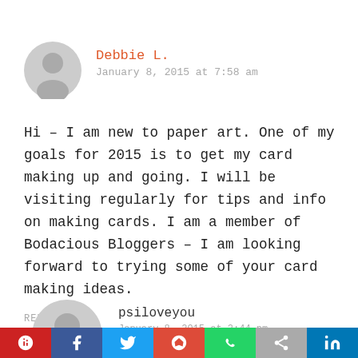Debbie L.
January 8, 2015 at 7:58 am
Hi – I am new to paper art. One of my goals for 2015 is to get my card making up and going. I will be visiting regularly for tips and info on making cards. I am a member of Bodacious Bloggers – I am looking forward to trying some of your card making ideas.
REPLY
psiloveyou
January 8, 2015 at 2:44 pm